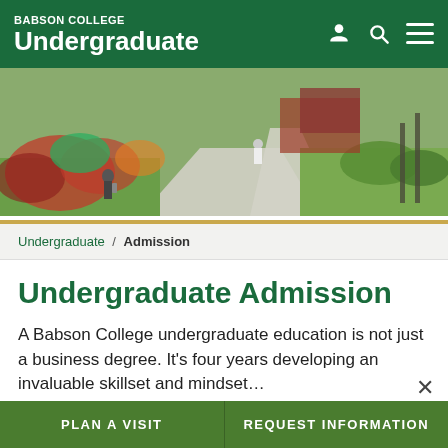BABSON COLLEGE Undergraduate
[Figure (photo): Campus walkway with students walking through colorful gardens and landscaping, brick buildings in background]
Undergraduate / Admission
Undergraduate Admission
A Babson College undergraduate education is not just a business degree. It's four years developing an invaluable skillset and mindset…
PLAN A VISIT | REQUEST INFORMATION